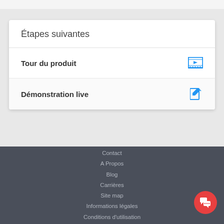Étapes suivantes
Tour du produit
Démonstration live
Contact
A Propos
Blog
Carrières
Site map
Informations légales
Conditions d'utilisation